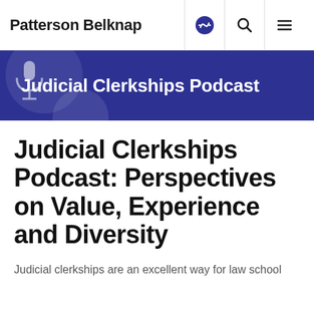Patterson Belknap
[Figure (screenshot): Navigation bar with Patterson Belknap logo and icons for audio, search, and menu]
Judicial Clerkships Podcast
Judicial Clerkships Podcast: Perspectives on Value, Experience and Diversity
Judicial clerkships are an excellent way for law school